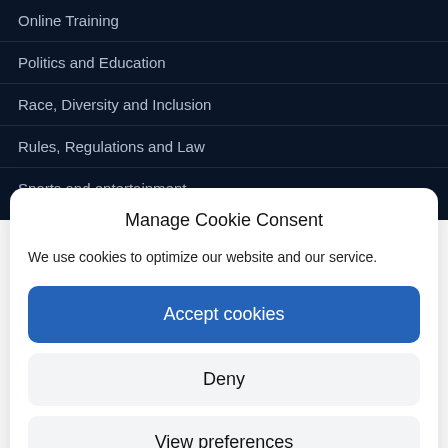Online Training
Politics and Education
Race, Diversity and Inclusion
Rules, Regulations and Law
Sports and entertainment
Manage Cookie Consent
We use cookies to optimize our website and our service.
Accept cookies
Deny
View preferences